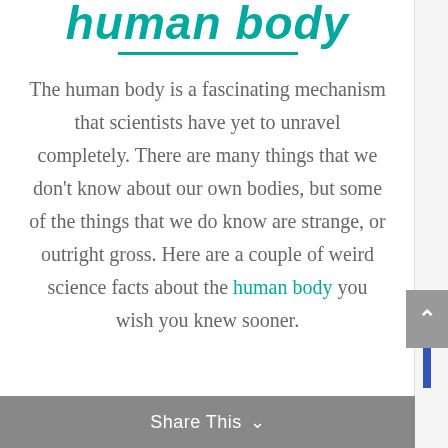human body
The human body is a fascinating mechanism that scientists have yet to unravel completely. There are many things that we don't know about our own bodies, but some of the things that we do know are strange, or outright gross. Here are a couple of weird science facts about the human body you wish you knew sooner.
Share This